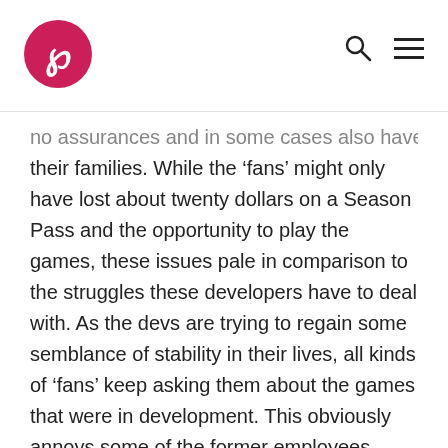[Logo: P in circle] [Search icon] [Menu icon]
no assurances and in some cases also have to think of their families. While the ‘fans’ might only have lost about twenty dollars on a Season Pass and the opportunity to play the games, these issues pale in comparison to the struggles these developers have to deal with. As the devs are trying to regain some semblance of stability in their lives, all kinds of ‘fans’ keep asking them about the games that were in development. This obviously annoys some of the former employees, since none of them knows the studio’s future plans. People like myself are already suggesting that some former employees might be able to to put up a Kickstarter to make games with new characters and new settings, but the reality of this is far more complex than most can imagine. The future